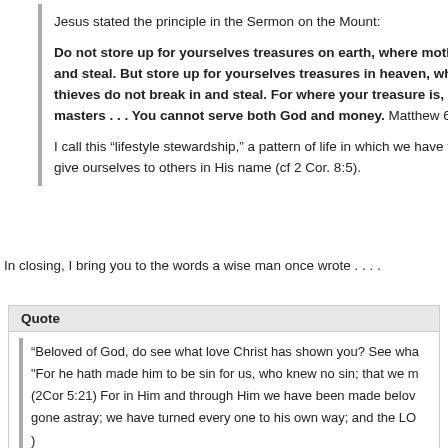Jesus stated the principle in the Sermon on the Mount:
Do not store up for yourselves treasures on earth, where moth and steal. But store up for yourselves treasures in heaven, where thieves do not break in and steal. For where your treasure is, y masters . . . You cannot serve both God and money. Matthew 6:
I call this “lifestyle stewardship,” a pattern of life in which we have fi give ourselves to others in His name (cf 2 Cor. 8:5).
In closing, I bring you to the words a wise man once wrote . . . .
Quote
“Beloved of God, do see what love Christ has shown you? See wha "For he hath made him to be sin for us, who knew no sin; that we m (2Cor 5:21) For in Him and through Him we have been made belov gone astray; we have turned every one to his own way; and the LO )